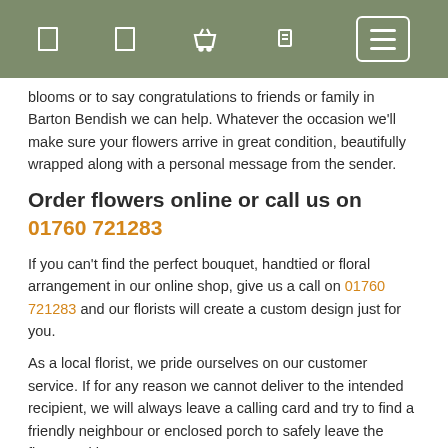[Navigation bar with icons]
blooms or to say congratulations to friends or family in Barton Bendish we can help. Whatever the occasion we'll make sure your flowers arrive in great condition, beautifully wrapped along with a personal message from the sender.
Order flowers online or call us on 01760 721283
If you can't find the perfect bouquet, handtied or floral arrangement in our online shop, give us a call on 01760 721283 and our florists will create a custom design just for you.
As a local florist, we pride ourselves on our customer service. If for any reason we cannot deliver to the intended recipient, we will always leave a calling card and try to find a friendly neighbour or enclosed porch to safely leave the flowers with.